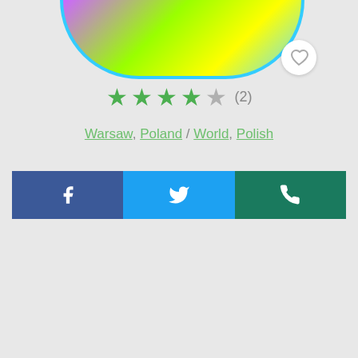[Figure (illustration): Circular colorful app logo/badge with blue border and multicolor gradient (purple, green, yellow), partially cropped at top. Heart/favorite button in a white circle at the bottom-right of the image.]
★★★★☆ (2)
Warsaw, Poland / World, Polish
[Figure (other): Social sharing bar with three buttons: Facebook (dark blue, f icon), Twitter (light blue, bird icon), WhatsApp (dark teal, phone icon)]